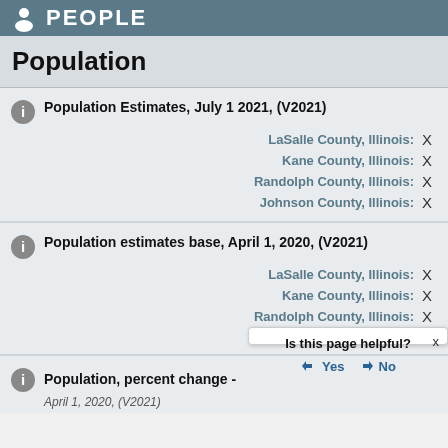PEOPLE
Population
Population Estimates, July 1 2021, (V2021)
LaSalle County, Illinois: X
Kane County, Illinois: X
Randolph County, Illinois: X
Johnson County, Illinois: X
Population estimates base, April 1, 2020, (V2021)
LaSalle County, Illinois: X
Kane County, Illinois: X
Randolph County, Illinois: X
Johnson County, Illinois: X
Is this page helpful? Yes No
Population, percent change -